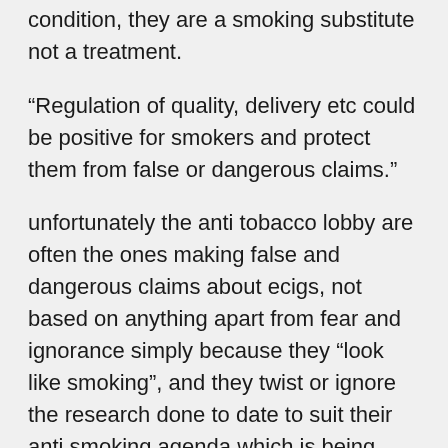condition, they are a smoking substitute not a treatment.
“Regulation of quality, delivery etc could be positive for smokers and protect them from false or dangerous claims.”
unfortunately the anti tobacco lobby are often the ones making false and dangerous claims about ecigs, not based on anything apart from fear and ignorance simply because they “look like smoking”, and they twist or ignore the research done to date to suit their anti smoking agenda which is being applied to vaping by default. This is where sense and logic need to prevail.
Sceptics are concerned, and that would be